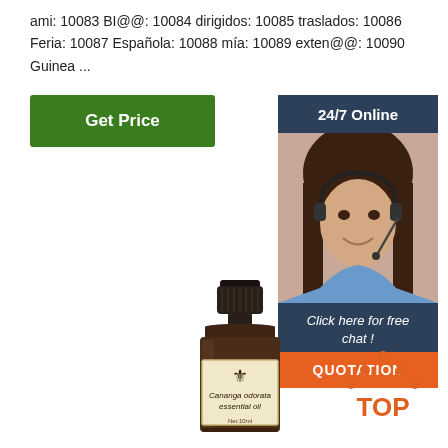ami: 10083 BI@@: 10084 dirigidos: 10085 traslados: 10086 Feria: 10087 Española: 10088 mía: 10089 exten@@: 10090 Guinea ...
[Figure (other): Green 'Get Price' button]
[Figure (photo): Customer service representative with headset, '24/7 Online' banner, 'Click here for free chat!' text, orange 'QUOTATION' button]
[Figure (photo): Brown glass bottle of Cananga odorata essential oil, 10ml, with cream label and fleur-de-lis logo]
[Figure (other): Orange and dark TOP logo/icon with arrow pointing up made of dots]